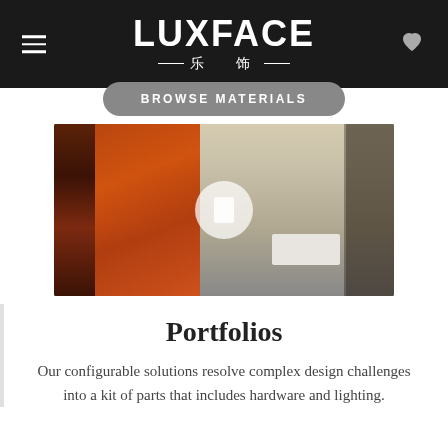LUXFACE 乐饰
BROWSE MATERIALS
[Figure (photo): Interior retail/showroom space featuring dark reflective panels with orange/bronze tones on the left and a bright mirrored showroom on the right, with a circular mirror element in the center.]
Portfolios
Our configurable solutions resolve complex design challenges into a kit of parts that includes hardware and lighting.